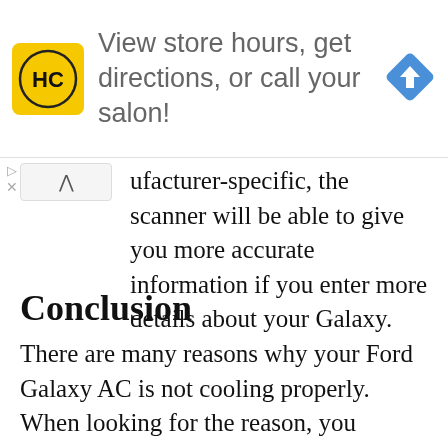[Figure (advertisement): Ad banner with HC logo (yellow square with black HC text), text 'View store hours, get directions, or call your salon!', and a blue navigation diamond icon]
ufacturer-specific, the scanner will be able to give you more accurate information if you enter more details about your Galaxy.
Conclusion
There are many reasons why your Ford Galaxy AC is not cooling properly. When looking for the reason, you should always start with the most obvious cause, insufficient amount of refrigerant.
In any case, it is advisable for laypersons to visit a workshop. A professional mechanic